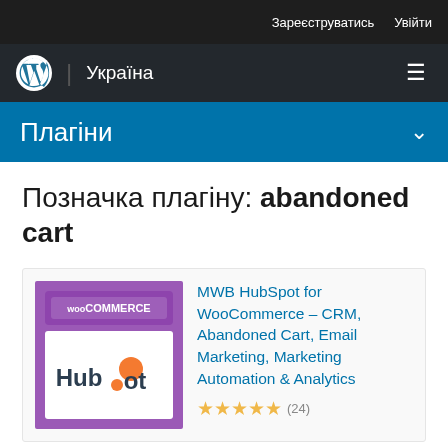Зареєструватись  Увійти
WordPress | Україна
Плагіни
Позначка плагіну: abandoned cart
[Figure (logo): MWB HubSpot for WooCommerce plugin logo — purple background with WooCommerce and HubSpot logos]
MWB HubSpot for WooCommerce – CRM, Abandoned Cart, Email Marketing, Marketing Automation & Analytics
★★★★★ (24)